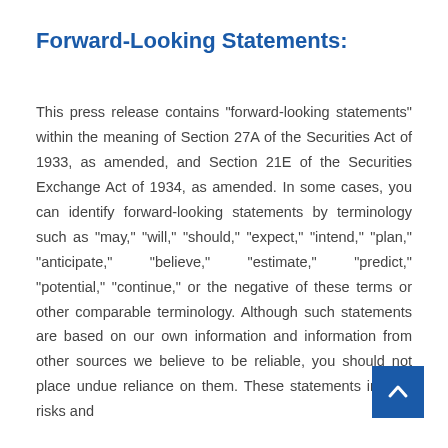Forward-Looking Statements:
This press release contains "forward-looking statements" within the meaning of Section 27A of the Securities Act of 1933, as amended, and Section 21E of the Securities Exchange Act of 1934, as amended. In some cases, you can identify forward-looking statements by terminology such as "may," "will," "should," "expect," "intend," "plan," "anticipate," "believe," "estimate," "predict," "potential," "continue," or the negative of these terms or other comparable terminology. Although such statements are based on our own information and information from other sources we believe to be reliable, you should not place undue reliance on them. These statements involve risks and